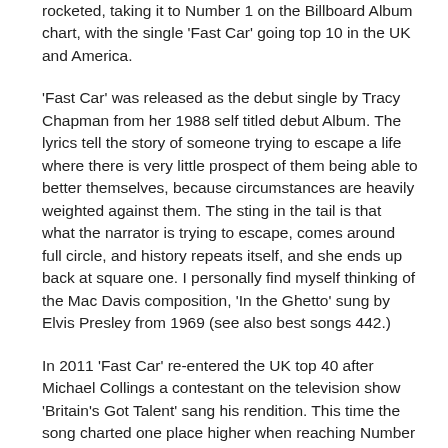rocketed, taking it to Number 1 on the Billboard Album chart, with the single 'Fast Car' going top 10 in the UK and America.
'Fast Car' was released as the debut single by Tracy Chapman from her 1988 self titled debut Album. The lyrics tell the story of someone trying to escape a life where there is very little prospect of them being able to better themselves, because circumstances are heavily weighted against them. The sting in the tail is that what the narrator is trying to escape, comes around full circle, and history repeats itself, and she ends up back at square one. I personally find myself thinking of the Mac Davis composition, 'In the Ghetto' sung by Elvis Presley from 1969 (see also best songs 442.)
In 2011 'Fast Car' re-entered the UK top 40 after Michael Collings a contestant on the television show 'Britain's Got Talent' sang his rendition. This time the song charted one place higher when reaching Number 4. In 2015 the 'Dance Music' producer Jonas Blue released a version of the song as his debut single, featuring the vocals of Sophie Elton, better known by her stage name 'Dakota,' and this version reached Number 2 in the UK.